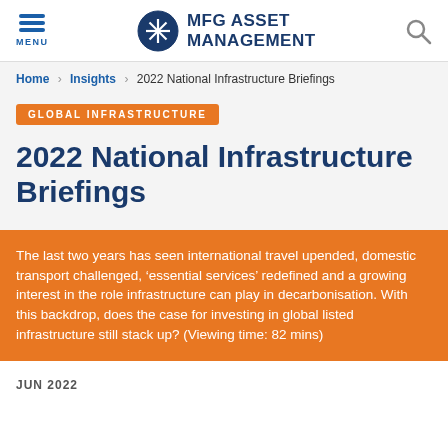MFG ASSET MANAGEMENT — MENU / Logo / Search
Home › Insights › 2022 National Infrastructure Briefings
GLOBAL INFRASTRUCTURE
2022 National Infrastructure Briefings
The last two years has seen international travel upended, domestic transport challenged, 'essential services' redefined and a growing interest in the role infrastructure can play in decarbonisation. With this backdrop, does the case for investing in global listed infrastructure still stack up? (Viewing time: 82 mins)
JUN 2022